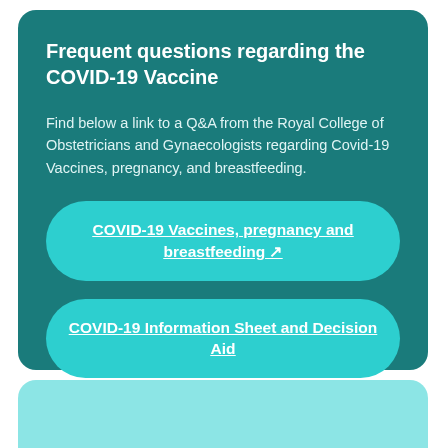Frequent questions regarding the COVID-19 Vaccine
Find below a link to a Q&A from the Royal College of Obstetricians and Gynaecologists regarding Covid-19 Vaccines, pregnancy, and breastfeeding.
COVID-19 Vaccines, pregnancy and breastfeeding
COVID-19 Information Sheet and Decision Aid